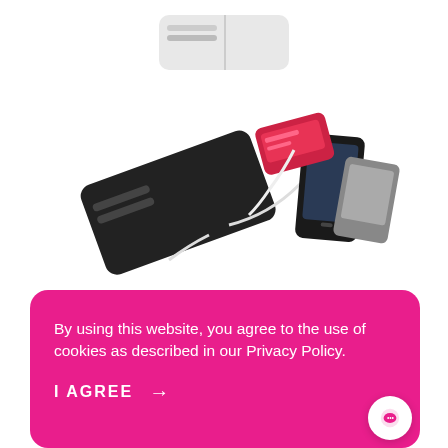[Figure (photo): Product photo showing a black power bank connected to multiple devices including a smartphone and a tablet via USB cables, on a white background.]
From: £33.07
Power Bank Bradfor
10 Units @ £452.00
By using this website, you agree to the use of cookies as described in our Privacy Policy.
I AGREE →